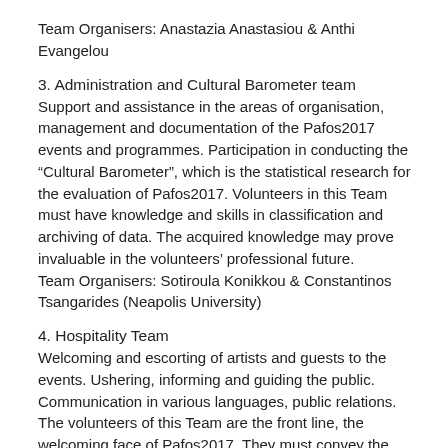Team Organisers: Anastazia Anastasiou & Anthi Evangelou
3. Administration and Cultural Barometer team
Support and assistance in the areas of organisation, management and documentation of the Pafos2017 events and programmes. Participation in conducting the “Cultural Barometer”, which is the statistical research for the evaluation of Pafos2017. Volunteers in this Team must have knowledge and skills in classification and archiving of data. The acquired knowledge may prove invaluable in the volunteers’ professional future.
Team Organisers: Sotiroula Konikkou & Constantinos Tsangarides (Neapolis University)
4. Hospitality Team
Welcoming and escorting of artists and guests to the events. Ushering, informing and guiding the public. Communication in various languages, public relations. The volunteers of this Team are the front line, the welcoming face of Pafos2017. They must convey the enthusiasm and quality of the mission of the European Capital of Culture in a direct and friendly manner. They will gain knowledge on public relations and communication through their participation in the biggest cultural event of the